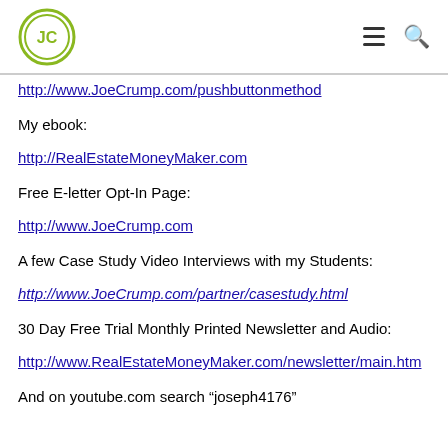JC logo with hamburger menu and search icon
http://www.JoeCrump.com/pushbuttonmethod
My ebook:
http://RealEstateMoneyMaker.com
Free E-letter Opt-In Page:
http://www.JoeCrump.com
A few Case Study Video Interviews with my Students:
http://www.JoeCrump.com/partner/casestudy.html
30 Day Free Trial Monthly Printed Newsletter and Audio:
http://www.RealEstateMoneyMaker.com/newsletter/main.htm
And on youtube.com search "joseph4176"